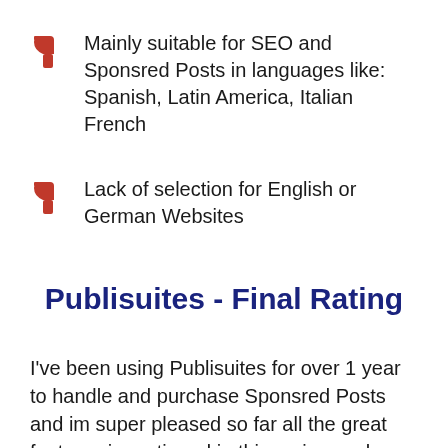Mainly suitable for SEO and Sponsred Posts in languages like: Spanish, Latin America, Italian French
Lack of selection for English or German Websites
Publisuites - Final Rating
I've been using Publisuites for over 1 year to handle and purchase Sponsred Posts and im super pleased so far all the great features i mentioned in this review makes my user experience and